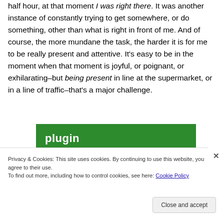half hour, at that moment I was right there. It was another instance of constantly trying to get somewhere, or do something, other than what is right in front of me. And of course, the more mundane the task, the harder it is for me to be really present and attentive. It's easy to be in the moment when that moment is joyful, or poignant, or exhilarating–but being present in line at the supermarket, or in a line of traffic–that's a major challenge.
[Figure (screenshot): Green banner with white bold text reading 'plugin']
Privacy & Cookies: This site uses cookies. By continuing to use this website, you agree to their use.
To find out more, including how to control cookies, see here: Cookie Policy
Close and accept